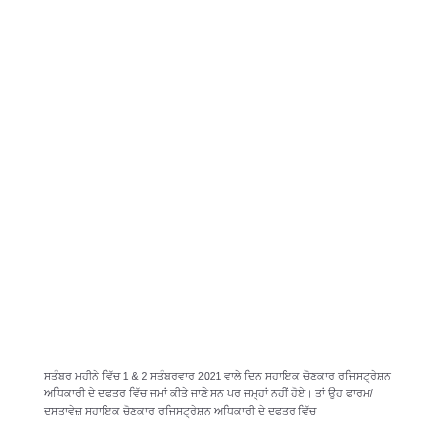ਸਤੰਬਰ ਮਹੀਨੇ ਵਿੱਚ 1 & 2 ਸਤੰਬਰਵਾਰ 2021 ਵਾਲੇ ਦਿਨ ਸਹਾਇਕ ਚੋਣਕਾਰ ਰਜਿਸਟ੍ਰੇਸ਼ਨ ਅਧਿਕਾਰੀ ਦੇ ਦਫਤਰ ਵਿੱਚ ਜਮਾਂ ਕੀਤੇ ਜਾਣੇ ਸਨ ਪਰ ਜਮ੍ਹਾਂ ਨਹੀਂ ਹੋਏ। ਤਾਂ ਉਹ ਫਾਰਮ/ਦਸਤਾਵੇਜ਼ ਸਹਾਇਕ ਚੋਣਕਾਰ ਰਜਿਸਟ੍ਰੇਸ਼ਨ ਅਧਿਕਾਰੀ ਦੇ ਦਫਤਰ ਵਿੱਚ